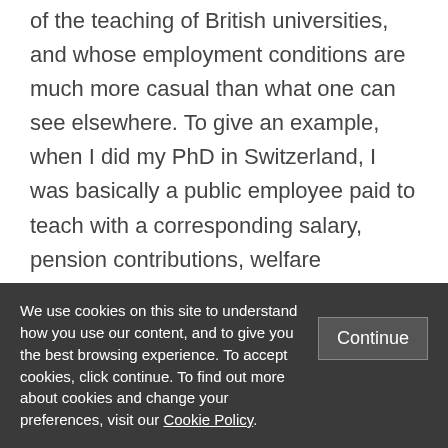of the teaching of British universities, and whose employment conditions are much more casual than what one can see elsewhere. To give an example, when I did my PhD in Switzerland, I was basically a public employee paid to teach with a corresponding salary, pension contributions, welfare entitlements. A large proportion of PhD students in the UK do not have regular sources of funding, need to apply here and
We use cookies on this site to understand how you use our content, and to give you the best browsing experience. To accept cookies, click continue. To find out more about cookies and change your preferences, visit our Cookie Policy.